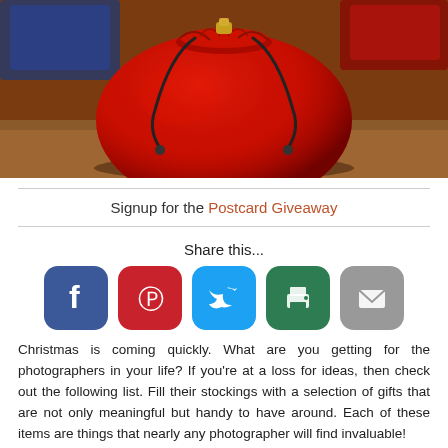[Figure (photo): A red velvet drawstring bag photographed up close, with a blurred background showing colorful boxes.]
Signup for the Postcard Giveaway
Share this...
[Figure (infographic): Social sharing buttons: Facebook (blue), Pinterest (red), Twitter (light blue), Print (green), Email (gray)]
Christmas is coming quickly. What are you getting for the photographers in your life? If you're at a loss for ideas, then check out the following list. Fill their stockings with a selection of gifts that are not only meaningful but handy to have around. Each of these items are things that nearly any photographer will find invaluable!